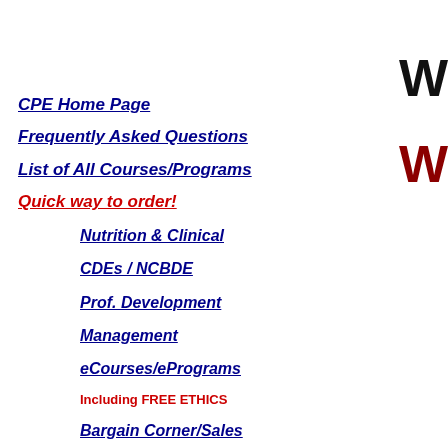CPE Home Page
Frequently Asked Questions
List of All Courses/Programs
Quick way to order!
Nutrition & Clinical
CDEs / NCBDE
Prof. Development
Management
eCourses/ePrograms
Including FREE ETHICS
Bargain Corner/Sales